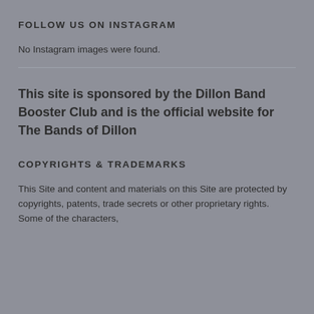FOLLOW US ON INSTAGRAM
No Instagram images were found.
This site is sponsored by the Dillon Band Booster Club and is the official website for The Bands of Dillon
COPYRIGHTS & TRADEMARKS
This Site and content and materials on this Site are protected by copyrights, patents, trade secrets or other proprietary rights. Some of the characters,